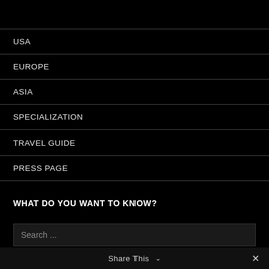USA
EUROPE
ASIA
SPECIALIZATION
TRAVEL GUIDE
PRESS PAGE
WHAT DO YOU WANT TO KNOW?
Search ...
Share This  ✕